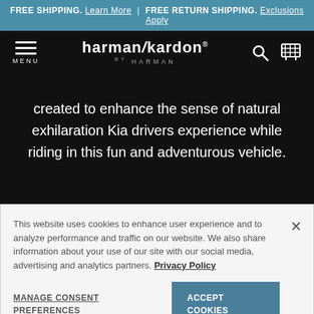FREE SHIPPING. Learn More | FREE RETURN SHIPPING. Exclusions Apply
[Figure (logo): Harman/Kardon by Harman logo with menu icon, search icon, and cart icon on a dark navigation bar]
created to enhance the sense of natural exhilaration Kia drivers experience while riding in this fun and adventurous vehicle.
This website uses cookies to enhance user experience and to analyze performance and traffic on our website. We also share information about your use of our site with our social media, advertising and analytics partners. Privacy Policy
MANAGE CONSENT PREFERENCES  ACCEPT COOKIES